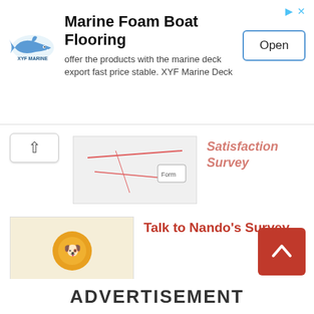[Figure (infographic): Advertisement banner for Marine Foam Boat Flooring with shark logo, text description, and Open button]
[Figure (screenshot): Partially visible satisfaction survey thumbnail with map/form]
Satisfaction Survey (partial, cut off)
[Figure (screenshot): Talk to Nando's Survey thumbnail showing orange chicken icon]
Talk to Nando’s Survey
[Figure (screenshot): Smashburger Customer Experience Survey thumbnail]
Smashburger Customer Experience Survey
[Figure (screenshot): Giant Tiger Customer Satisfaction Survey thumbnail with yellow/black logo]
Giant Tiger Customer Satisfaction Survey
ADVERTISEMENT